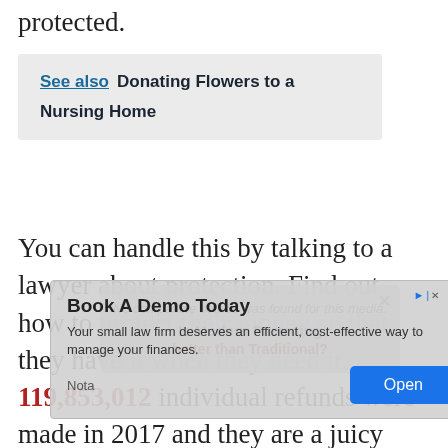protected.
See also  Donating Flowers to a Nursing Home
You can handle this by talking to a lawyer about protection. Find out how to protect their money so that they have it when they need it. 119,853,012 individual refunds were made in 2017 and they are a juicy target for
[Figure (other): Advertisement overlay: Book A Demo Today - Your small law firm deserves an efficient, cost-effective way to manage your finances. Open button.]
[Figure (other): Video player overlay with text: No compatible source was found for this media. Is Modern Parenting better than Traditional?]